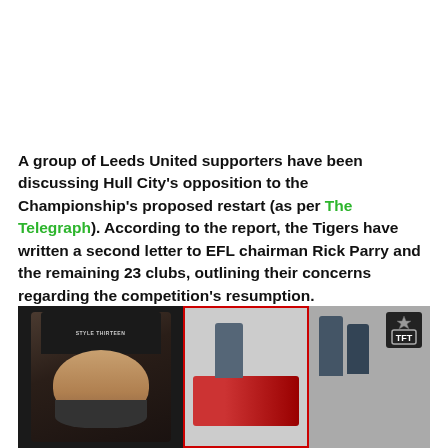A group of Leeds United supporters have been discussing Hull City's opposition to the Championship's proposed restart (as per The Telegraph). According to the report, the Tigers have written a second letter to EFL chairman Rick Parry and the remaining 23 clubs, outlining their concerns regarding the competition's resumption.
[Figure (photo): Video thumbnail showing a man wearing a black cap on the left, and two scene panels on the right separated by a red border. A TFT logo is visible in the top-right corner.]